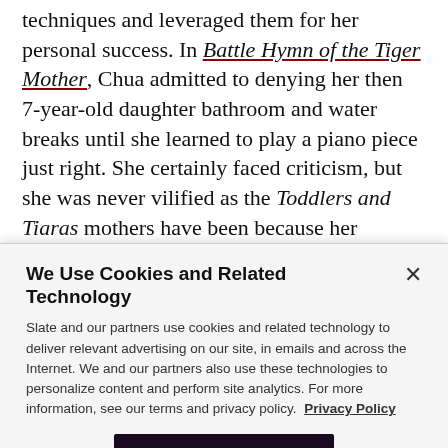techniques and leveraged them for her personal success. In Battle Hymn of the Tiger Mother, Chua admitted to denying her then 7-year-old daughter bathroom and water breaks until she learned to play a piano piece just right. She certainly faced criticism, but she was never vilified as the Toddlers and Tiaras mothers have been because her ultimate goal for her children, admittance to prestigious universities, is accepted as legitimate by bourgeois parenting
We Use Cookies and Related Technology
Slate and our partners use cookies and related technology to deliver relevant advertising on our site, in emails and across the Internet. We and our partners also use these technologies to personalize content and perform site analytics. For more information, see our terms and privacy policy.  Privacy Policy